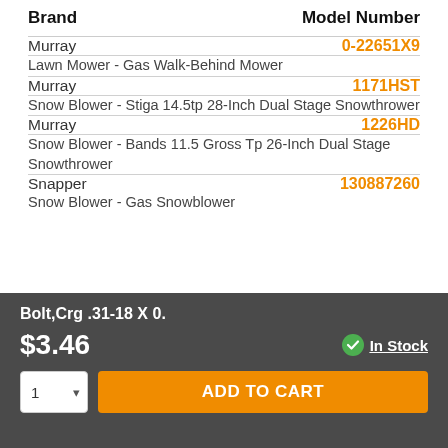| Brand | Model Number |
| --- | --- |
| Murray | 0-22651X9 |
| Lawn Mower - Gas Walk-Behind Mower |  |
| Murray | 1171HST |
| Snow Blower - Stiga 14.5tp 28-Inch Dual Stage Snowthrower |  |
| Murray | 1226HD |
| Snow Blower - Bands 11.5 Gross Tp 26-Inch Dual Stage Snowthrower |  |
| Snapper | 130887260 |
| Snow Blower - Gas Snowblower |  |
Bolt,Crg .31-18 X 0.
$3.46
In Stock
ADD TO CART